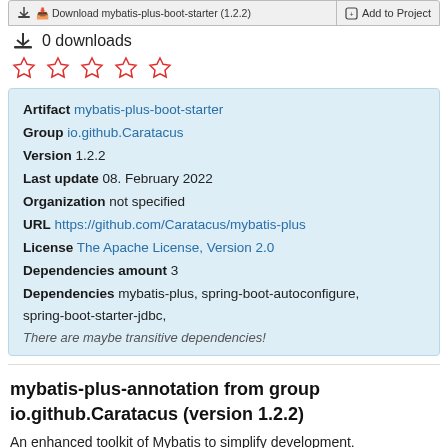0 downloads
[Figure (other): 5 empty star rating icons in red outline]
Artifact mybatis-plus-boot-starter
Group io.github.Caratacus
Version 1.2.2
Last update 08. February 2022
Organization not specified
URL https://github.com/Caratacus/mybatis-plus
License The Apache License, Version 2.0
Dependencies amount 3
Dependencies mybatis-plus, spring-boot-autoconfigure, spring-boot-starter-jdbc,
There are maybe transitive dependencies!
mybatis-plus-annotation from group io.github.Caratacus (version 1.2.2)
An enhanced toolkit of Mybatis to simplify development.
Group: io.github.Caratacus   Artifact: mybatis-plus-annotation